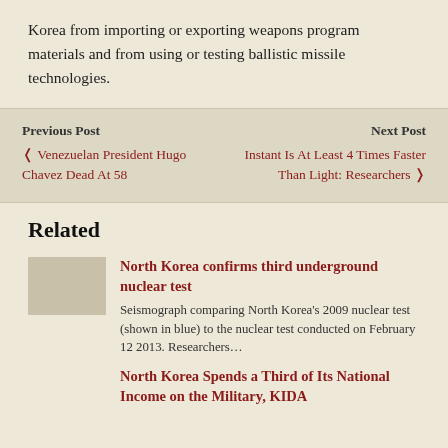Korea from importing or exporting weapons program materials and from using or testing ballistic missile technologies.
Previous Post
‹ Venezuelan President Hugo Chavez Dead At 58
Next Post
Instant Is At Least 4 Times Faster Than Light: Researchers ›
Related
North Korea confirms third underground nuclear test
Seismograph comparing North Korea's 2009 nuclear test (shown in blue) to the nuclear test conducted on February 12 2013. Researchers…
North Korea Spends a Third of Its National Income on the Military, KIDA